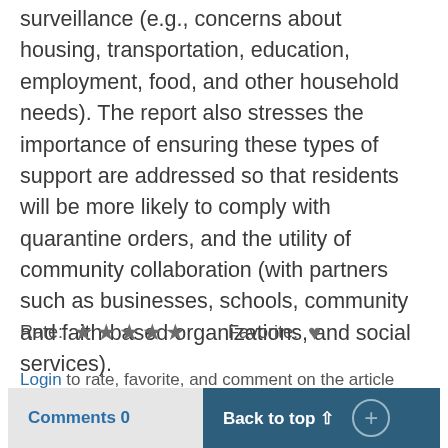surveillance (e.g., concerns about housing, transportation, education, employment, food, and other household needs). The report also stresses the importance of ensuring these types of support are addressed so that residents will be more likely to comply with quarantine orders, and the utility of community collaboration (with partners such as businesses, schools, community and faith-based organizations, and social services).
Rate: ★★★★★   Favorite: ♥
Login to rate, favorite, and comment on the article
Comments 0   Back to top ↑  +